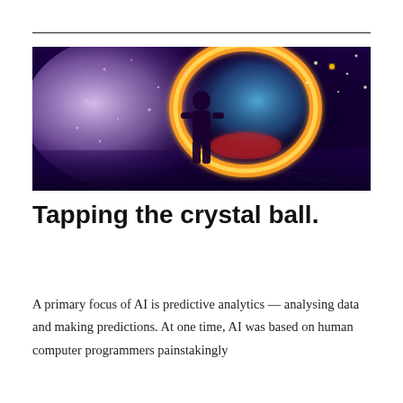[Figure (photo): A silhouette of a person standing in front of a large glowing circular portal or energy vortex, featuring golden-orange and blue-white light against a dark starry background with a reflective grid floor.]
Tapping the crystal ball.
A primary focus of AI is predictive analytics — analysing data and making predictions. At one time, AI was based on human computer programmers painstakingly